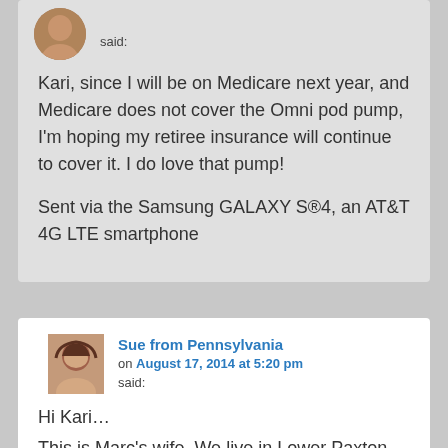said:
Kari, since I will be on Medicare next year, and Medicare does not cover the Omni pod pump, I'm hoping my retiree insurance will continue to cover it. I do love that pump!

Sent via the Samsung GALAXY S®4, an AT&T 4G LTE smartphone
Sue from Pennsylvania
on August 17, 2014 at 5:20 pm
said:
Hi Kari…
This is Marc's wife. We live in Lower Paxton Township probably only about 20